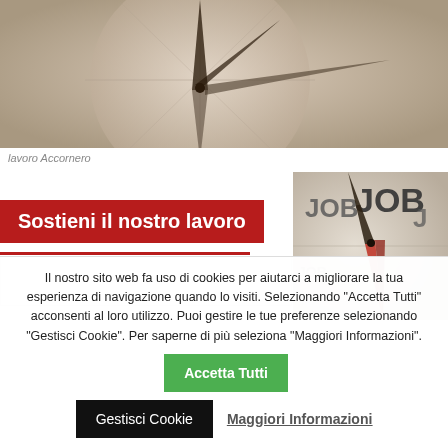[Figure (photo): Close-up photo of a compass with dark needle against a beige/tan background]
lavoro Accornero
Sostieni il nostro lavoro
[Figure (photo): Close-up photo showing compass needle pointing to JOB text repeated multiple times]
Il nostro sito web fa uso di cookies per aiutarci a migliorare la tua esperienza di navigazione quando lo visiti. Selezionando "Accetta Tutti" acconsenti al loro utilizzo. Puoi gestire le tue preferenze selezionando "Gestisci Cookie". Per saperne di più seleziona "Maggiori Informazioni".
Accetta Tutti
Gestisci Cookie
Maggiori Informazioni